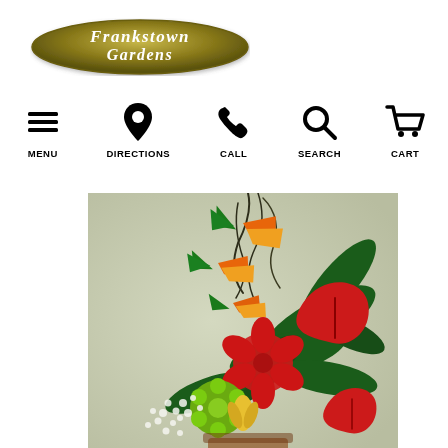[Figure (logo): Frankstown Gardens oval logo with gold/olive background and white serif text]
[Figure (infographic): Navigation bar with five icons and labels: MENU (hamburger), DIRECTIONS (pin), CALL (phone), SEARCH (magnifier), CART (shopping cart)]
[Figure (photo): Floral arrangement with birds of paradise, red anthuriums, red amaryllis, green chrysanthemums, baby's breath, and tropical foliage on a light green/grey background]